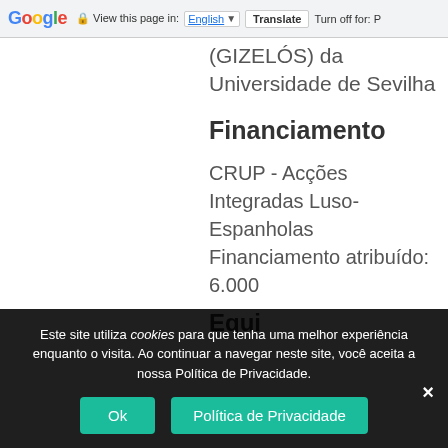Google  View this page in: English  Translate  Turn off for: P
(GIZELÓS) da Universidade de Sevilha
Financiamento
CRUP - Acções Integradas Luso-Espanholas Financiamento atribuído: 6.000
Este site utiliza cookies para que tenha uma melhor experiência enquanto o visita. Ao continuar a navegar neste site, você aceita a nossa Política de Privacidade.